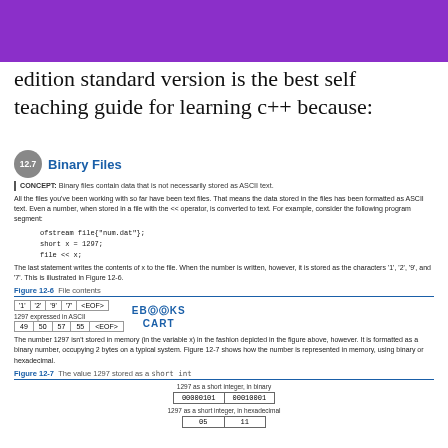edition standard version is the best self teaching guide for learning c++ because:
12.7 Binary Files
CONCEPT: Binary files contain data that is not necessarily stored as ASCII text.
All the files you've been working with so far have been text files. That means the data stored in the files has been formatted as ASCII text. Even a number, when stored in a file with the << operator, is converted to text. For example, consider the following program segment:
The last statement writes the contents of x to the file. When the number is written, however, it is stored as the characters '1', '2', '9', and '7'. This is illustrated in Figure 12-6.
Figure 12-6   File contents
[Figure (table-as-image): Figure 12-6 showing file contents: ASCII characters '1','2','9','7',<EOF> and their ASCII values 49,50,57,55,<EOF>]
The number 1297 isn't stored in memory (in the variable x) in the fashion depicted in the figure above, however. It is formatted as a binary number, occupying 2 bytes on a typical system. Figure 12-7 shows how the number is represented in memory, using binary or hexadecimal.
Figure 12-7   The value 1297 stored as a short int
[Figure (table-as-image): Figure 12-7: 1297 as a short integer in binary: 00000101 00010001; 1297 as a short integer in hexadecimal: 05 11]